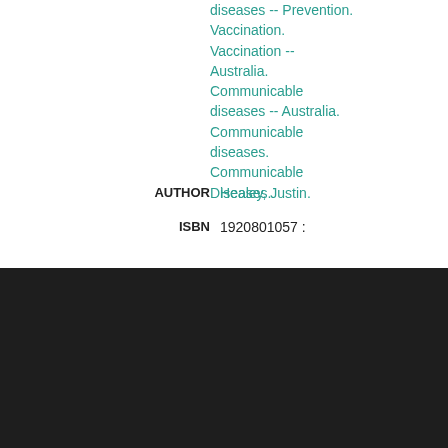diseases -- Prevention. Vaccination. Vaccination -- Australia. Communicable diseases -- Australia. Communicable diseases. Communicable Diseases.
AUTHOR   Healey, Justin.
ISBN   1920801057 :
Enrolments, fees and money
University handbook
STAR
Important dates and census
Study
References